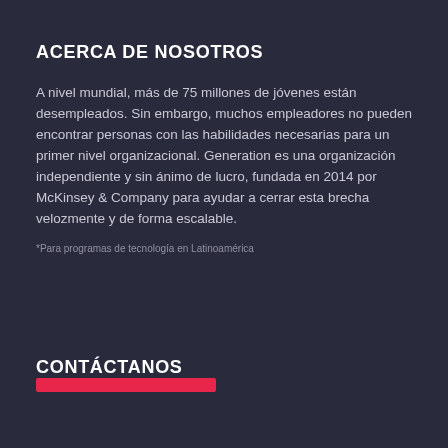ACERCA DE NOSOTROS
A nivel mundial, más de 75 millones de jóvenes están desempleados. Sin embargo, muchos empleadores no pueden encontrar personas con las habilidades necesarias para un primer nivel organizacional. Generation es una organización independiente y sin ánimo de lucro, fundada en 2014 por McKinsey & Company para ayudar a cerrar esta brecha velozmente y de forma escalable.
*Para programas de tecnología en Latinoamérica
CONTÁCTANOS